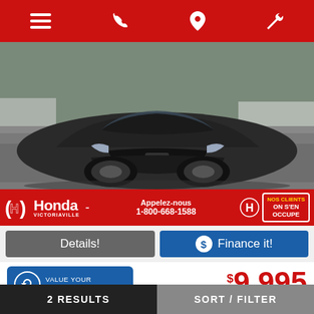Honda Victoriaville navigation bar with menu, phone, location, and wrench icons
[Figure (photo): Front view of a dark grey/black Honda Accord sedan parked in a dealership lot]
Honda Victoriaville - Appelez-nous 1-800-668-1588 - NOS CLIENTS ON S'EN OCCUPE
Details! | Finance it!
VALUE YOUR TRADE!
$9,995
...Sedan
LX Manual
2 RESULTS | SORT / FILTER